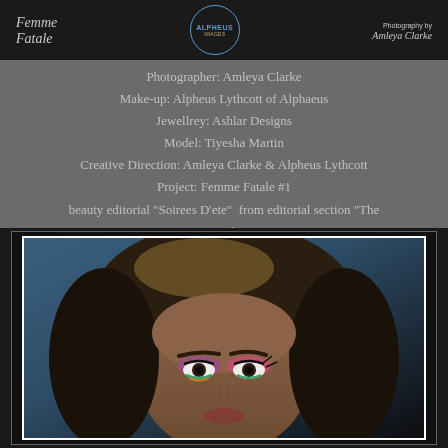[Figure (logo): Header banner with Femme Fatale script logo on left, Alpheus logo in center circle, Photography by Amleya Clarke script on right, all on dark background]
Photographer: Amleya Clarke
Make-up: Alpheus Lythcott of Alphaeus
Jewellrey: Ashlar Designs
Model: Tiyesha Martin
Creative Direction: Amleya Clarke & Alpheus Lythcott
Project: Femme Fatale #1
beauty editorial "Soirees D'ete" from editorial section "The Quintessential Summer"
[Figure (photo): Close-up portrait photo of model Tiyesha Martin showing face and hair with colorful eye makeup, framed with white and black border on dark background]